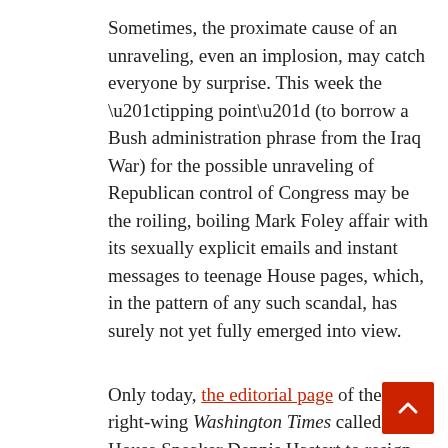Sometimes, the proximate cause of an unraveling, even an implosion, may catch everyone by surprise. This week the “tipping point” (to borrow a Bush administration phrase from the Iraq War) for the possible unraveling of Republican control of Congress may be the roiling, boiling Mark Foley affair with its sexually explicit emails and instant messages to teenage House pages, which, in the pattern of any such scandal, has surely not yet fully emerged into view.
Only today, the editorial page of the right-wing Washington Times called on House Speaker Dennis Hastert to resign “at once,” while the Washington Post reported “intense anger among social conservative activists in Washington yesterday.” Meanwhile, news about how much the Republican leadership (and the FBI) knew about Foley’s activities without taking any action continues to emerge and the Democrats are